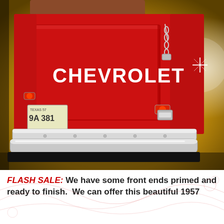[Figure (photo): Rear view of a classic red 1957 Chevrolet pickup truck showing the tailgate with bold white CHEVROLET lettering, chrome bumper, tail lights, license plate reading 9A 381, and a chain on the right side. Background is a warm golden/amber color.]
FLASH SALE: We have some front ends primed and ready to finish. We can offer this beautiful 1957